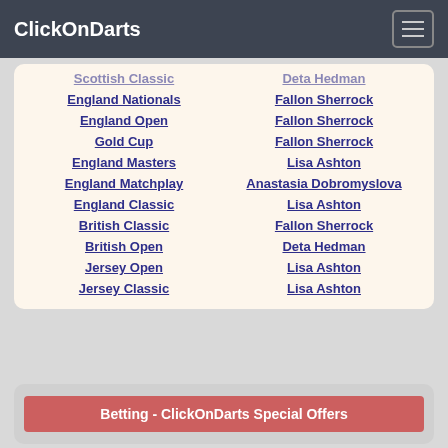ClickOnDarts
| Tournament | Winner |
| --- | --- |
| Scottish Classic | Deta Hedman |
| England Nationals | Fallon Sherrock |
| England Open | Fallon Sherrock |
| Gold Cup | Fallon Sherrock |
| England Masters | Lisa Ashton |
| England Matchplay | Anastasia Dobromyslova |
| England Classic | Lisa Ashton |
| British Classic | Fallon Sherrock |
| British Open | Deta Hedman |
| Jersey Open | Lisa Ashton |
| Jersey Classic | Lisa Ashton |
Betting - ClickOnDarts Special Offers